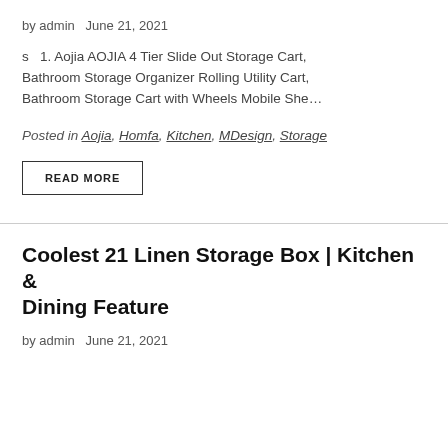by admin   June 21, 2021
s   1. Aojia AOJIA 4 Tier Slide Out Storage Cart, Bathroom Storage Organizer Rolling Utility Cart, Bathroom Storage Cart with Wheels Mobile She…
Posted in Aojia, Homfa, Kitchen, MDesign, Storage
READ MORE
Coolest 21 Linen Storage Box | Kitchen & Dining Feature
by admin   June 21, 2021